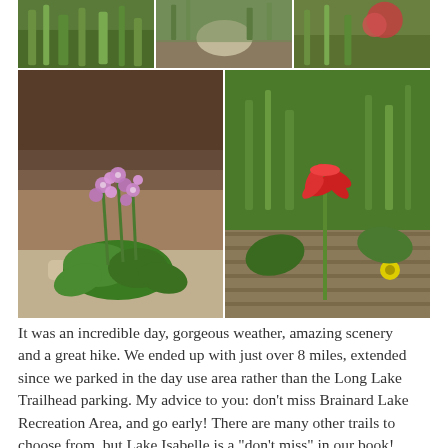[Figure (photo): Grid of 5 nature/flower photos from a hike at Brainard Lake Recreation Area. Top row: three photos of green foliage and plants. Bottom row: left photo shows purple wildflowers near a stream; right photo shows a red Indian paintbrush wildflower among green plants.]
It was an incredible day, gorgeous weather, amazing scenery and a great hike. We ended up with just over 8 miles, extended since we parked in the day use area rather than the Long Lake Trailhead parking. My advice to you: don't miss Brainard Lake Recreation Area, and go early! There are many other trails to choose from, but Lake Isabelle is a “don’t miss” in our book! You can see a trail map here.